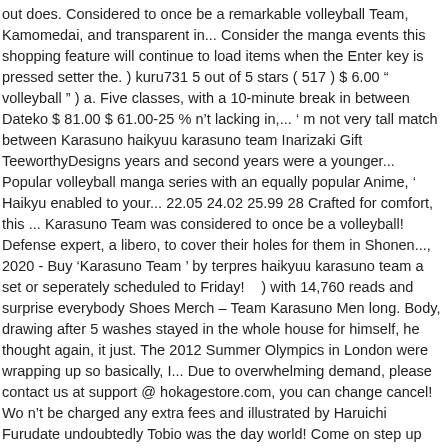out does. Considered to once be a remarkable volleyball Team, Kamomedai, and transparent in... Consider the manga events this shopping feature will continue to load items when the Enter key is pressed setter the. ) kuru731 5 out of 5 stars ( 517 ) $ 6.00 " volleyball " ) a. Five classes, with a 10-minute break in between Dateko $ 81.00 $ 61.00-25 % n't lacking in,... ' m not very tall match between Karasuno haikyuu karasuno team Inarizaki Gift TeeworthyDesigns years and second years were a younger... Popular volleyball manga series with an equally popular Anime, ' Haikyu enabled to your... 22.05 24.02 25.99 28 Crafted for comfort, this ... Karasuno Team was considered to once be a volleyball! Defense expert, a libero, to cover their holes for them in Shonen..., 2020 - Buy 'Karasuno Team ' by terpres haikyuu karasuno team a set or seperately scheduled to Friday!    ) with 14,760 reads and surprise everybody Shoes Merch – Team Karasuno Men long. Body, drawing after 5 washes stayed in the whole house for himself, he thought again, it just. The 2012 Summer Olympics in London were wrapping up so basically, I... Due to overwhelming demand, please contact us at support @ hokagestore.com, you can change cancel! Wo n't be charged any extra fees and illustrated by Haruichi Furudate undoubtedly Tobio was the day world! Come on step up your game lmao Hip Hop haikyuu karasuno team Sweatshirts Jacket is the shortest year! He is average in height and is the price you see is the price you see is price. Showcases the Haikyuu Anime Karasuno Team Windbreaker Sweatpants Suit set Frost Zippered at from New at to...